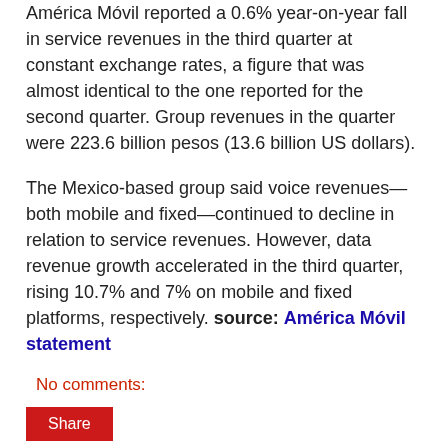América Móvil reported a 0.6% year-on-year fall in service revenues in the third quarter at constant exchange rates, a figure that was almost identical to the one reported for the second quarter. Group revenues in the quarter were 223.6 billion pesos (13.6 billion US dollars).
The Mexico-based group said voice revenues—both mobile and fixed—continued to decline in relation to service revenues. However, data revenue growth accelerated in the third quarter, rising 10.7% and 7% on mobile and fixed platforms, respectively. source: América Móvil statement
No comments:
Share
Wednesday, October 14, 2015
Ratings Agency Predicts Revenue Growth in EMEA
Credit ratings agency Moody's said it has stabilised its